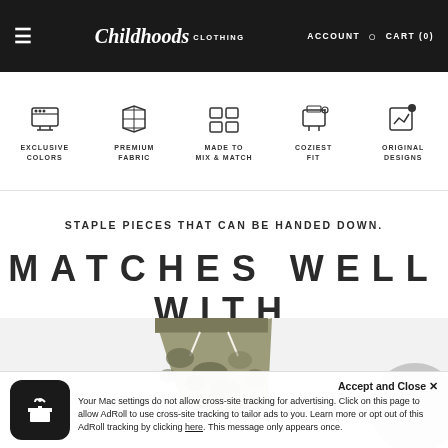≡  Childhoods Clothing  ACCOUNT  🔍  CART (0)
[Figure (infographic): Five feature icons with labels: EXCLUSIVE COLORS, PREMIUM FABRIC, MADE TO MIX & MATCH, COZIEST FIT, ORIGINAL DESIGNS]
STAPLE PIECES THAT CAN BE HANDED DOWN.
MATCHES WELL WITH
[Figure (photo): Camo patterned drawstring shorts and a partial grey circle visible at far right, product photos on light background]
Your Mac settings do not allow cross-site tracking for advertising. Click on this page to allow AdRoll to use cross-site tracking to tailor ads to you. Learn more or opt out of this AdRoll tracking by clicking here. This message only appears once.
Accept and Close ✕